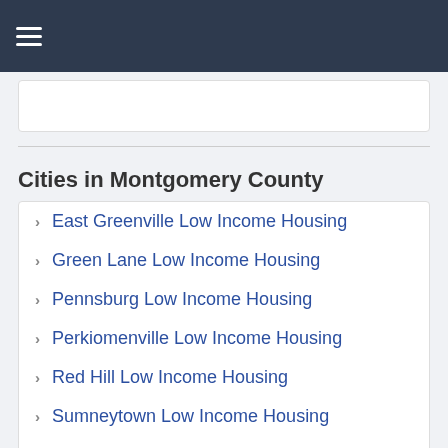Cities in Montgomery County
East Greenville Low Income Housing
Green Lane Low Income Housing
Pennsburg Low Income Housing
Perkiomenville Low Income Housing
Red Hill Low Income Housing
Sumneytown Low Income Housing
Colmar Low Income Housing